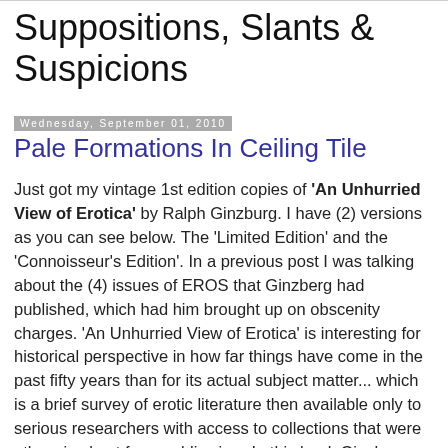Suppositions, Slants & Suspicions
Wednesday, September 01, 2010
Pale Formations In Ceiling Tile
Just got my vintage 1st edition copies of 'An Unhurried View of Erotica' by Ralph Ginzburg. I have (2) versions as you can see below. The 'Limited Edition' and the 'Connoisseur's Edition'. In a previous post I was talking about the (4) issues of EROS that Ginzberg had published, which had him brought up on obscenity charges. 'An Unhurried View of Erotica' is interesting for historical perspective in how far things have come in the past fifty years than for its actual subject matter... which is a brief survey of erotic literature then available only to serious researchers with access to collections that were otherwise kept from public view. In this book Ginzborg draws the parallel between witchcraft and